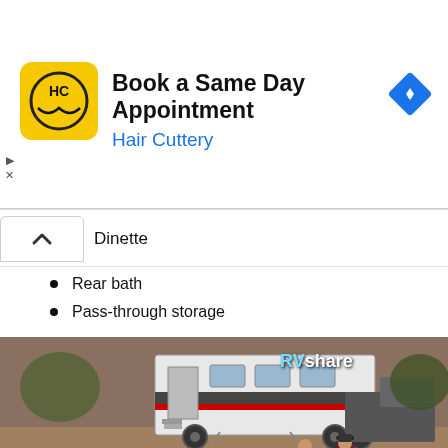[Figure (screenshot): Hair Cuttery advertisement banner with yellow logo, 'Book a Same Day Appointment' text, and blue navigation diamond icon]
Dinette
Rear bath
Pass-through storage
[Figure (photo): RVshare advertisement photo showing a travel trailer RV parked outdoors with two people sitting in camping chairs around a fire pit, overlaid with 'Experience RVing' text in white italic font]